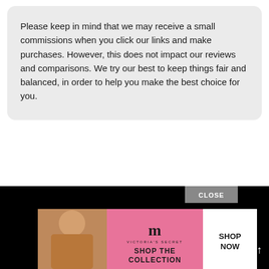Please keep in mind that we may receive a small commissions when you click our links and make purchases. However, this does not impact our reviews and comparisons. We try our best to keep things fair and balanced, in order to help you make the best choice for you.
[Figure (screenshot): Victoria's Secret advertisement banner on a black background. Shows a 'CLOSE' button, a model photo on the left, pink background with Victoria's Secret logo and 'SHOP THE COLLECTION' text in the center, and a white 'SHOP NOW' button on the right. A scroll-up arrow is visible on the far right.]